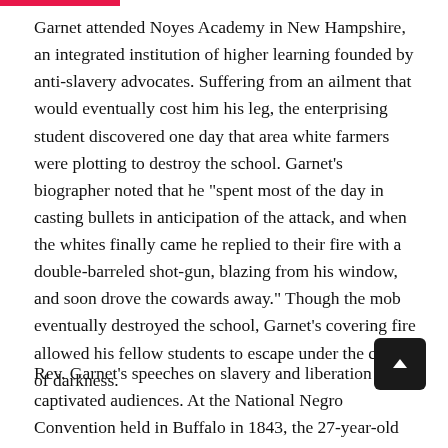Garnet attended Noyes Academy in New Hampshire, an integrated institution of higher learning founded by anti-slavery advocates. Suffering from an ailment that would eventually cost him his leg, the enterprising student discovered one day that area white farmers were plotting to destroy the school. Garnet's biographer noted that he "spent most of the day in casting bullets in anticipation of the attack, and when the whites finally came he replied to their fire with a double-barreled shot-gun, blazing from his window, and soon drove the cowards away." Though the mob eventually destroyed the school, Garnet's covering fire allowed his fellow students to escape under the cover of darkness.
Rev. Garnet's speeches on slavery and liberation captivated audiences. At the National Negro Convention held in Buffalo in 1843, the 27-year-old minister came forward with an